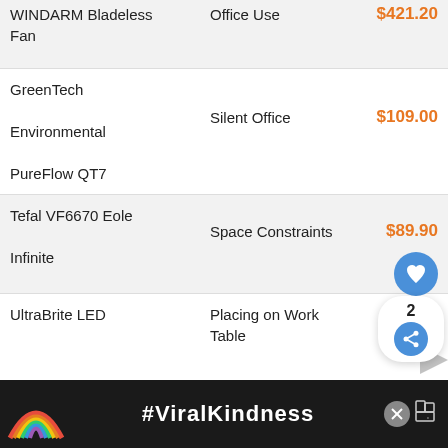| Product | Use Case | Price |
| --- | --- | --- |
| WINDARM Bladeless Fan | Office Use | $421.20 |
| GreenTech Environmental PureFlow QT7 | Silent Office | $109.00 |
| Tefal VF6670 Eole Infinite | Space Constraints | $89.90 |
| UltraBrite LED | Placing on Work Table | $79.00 |
| Xiaomi Rosou Lexiu | Smart, Sleek and Space Saving |  |
[Figure (screenshot): Overlay UI showing heart/favorite button and share icon with count of 2]
[Figure (screenshot): What's Next panel showing a tower fan thumbnail and text 'Best Tower Fan in...']
[Figure (screenshot): Advertisement bar at bottom with #ViralKindness text and rainbow illustration]